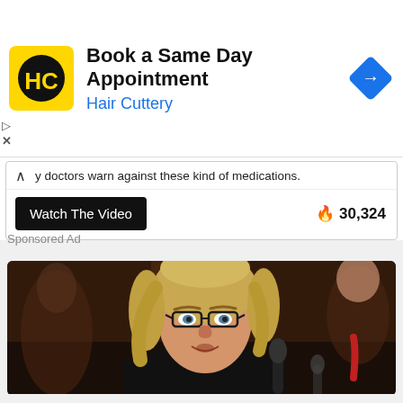[Figure (logo): Hair Cuttery logo - yellow square with HC monogram in black circle]
Book a Same Day Appointment
Hair Cuttery
[Figure (other): Blue diamond navigation/directions icon]
...y doctors warn against these kind of medications.
Watch The Video
🔥 30,324
Sponsored Ad
[Figure (photo): Woman with blonde hair and glasses speaking at a microphone, with blurred figures in the background]